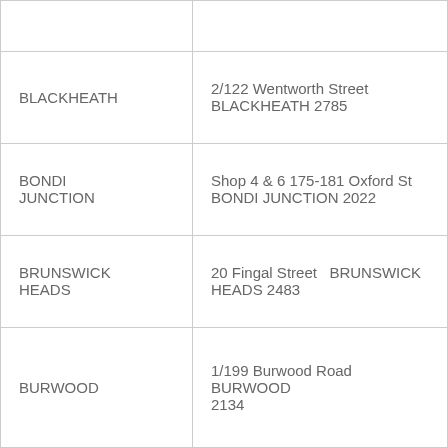| Location | Address |
| --- | --- |
|  |  |
| BLACKHEATH | 2/122 Wentworth Street BLACKHEATH 2785 |
| BONDI JUNCTION | Shop 4 & 6 175-181 Oxford St BONDI JUNCTION 2022 |
| BRUNSWICK HEADS | 20 Fingal Street  BRUNSWICK HEADS 2483 |
| BURWOOD | 1/199 Burwood Road  BURWOOD 2134 |